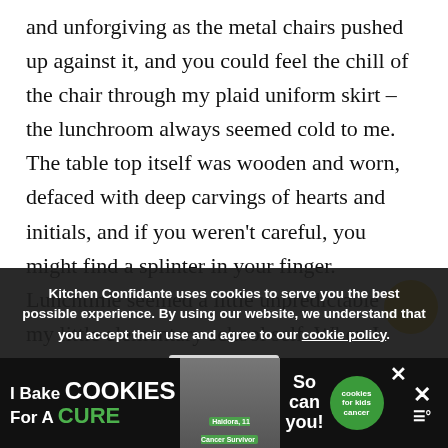and unforgiving as the metal chairs pushed up against it, and you could feel the chill of the chair through my plaid uniform skirt – the lunchroom always seemed cold to me. The table top itself was wooden and worn, defaced with deep carvings of hearts and initials, and if you weren't careful, you might find a splinter in your finger. Lunchtime seemed a little unpredictable to my little elementary school self. When I opened my paper bag I would feel a little anxious, not b... terrible, but if you were a slow eater, then you might understand. I chewed carefully and I could never run out to the playground as quickly as everyone else – it took forever to finish my lunch, and I often...
Kitchen Confidante uses cookies to serve you the best possible experience. By using our website, we understand that you accept their use and agree to our cookie policy. [Accept]
[Figure (other): Advertisement banner at the bottom: I Bake COOKIES For A CURE with image of a child and cookies for kids cancer badge]